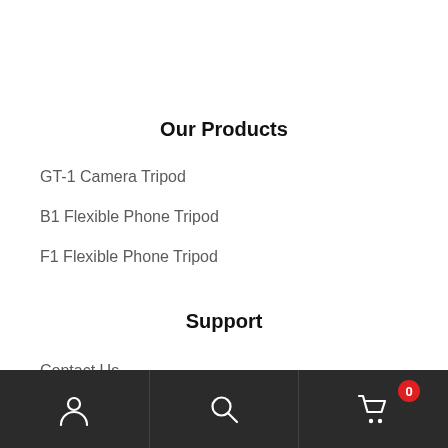Our Products
GT-1 Camera Tripod
B1 Flexible Phone Tripod
F1 Flexible Phone Tripod
Support
Contact Us
FAQ
Warranty and Services
[Figure (other): Bottom navigation bar with user account icon, search icon, and shopping cart icon with badge showing 0 items]